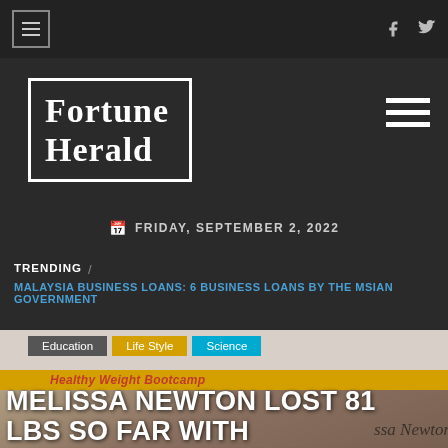Fortune Herald — Navigation bar with hamburger menu and social icons
[Figure (logo): Fortune Herald logo in white serif text inside a white border box on dark background]
FRIDAY, SEPTEMBER 2, 2022
TRENDING / MALAYSIA BUSINESS LOANS: 6 BUSINESS LOANS BY THE MSIAN GOVERNMENT
Education  Life Style  Science
MELISSA NEWTON LOST 81 LBS SO FAR WITH GLOBESITY FOUNDATION; DOCTOR SAYS "KEEP..."